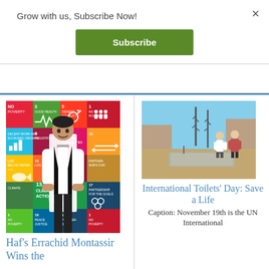Grow with us, Subscribe Now!
×
Subscribe
[Figure (photo): Man in white shirt and tie standing in front of colorful SDG (Sustainable Development Goals) tiles board]
Haf's Errachid Montassir Wins the
[Figure (photo): Two people standing outdoors in a dry landscape, looking at a flat concrete slab on the ground]
International Toilets' Day: Save a Life
Caption: November 19th is the UN International